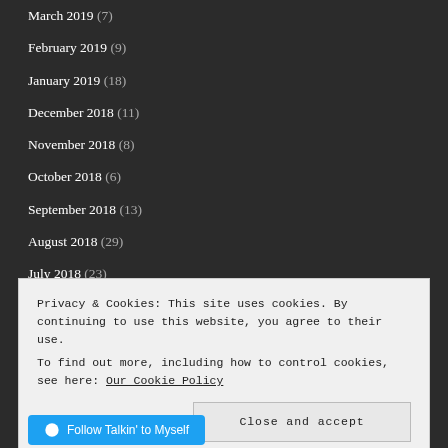March 2019 (7)
February 2019 (9)
January 2019 (18)
December 2018 (11)
November 2018 (8)
October 2018 (6)
September 2018 (13)
August 2018 (29)
July 2018 (23)
June 2018 (25)
May 2018 (20)
Privacy & Cookies: This site uses cookies. By continuing to use this website, you agree to their use. To find out more, including how to control cookies, see here: Our Cookie Policy
Close and accept
Follow Talkin' to Myself